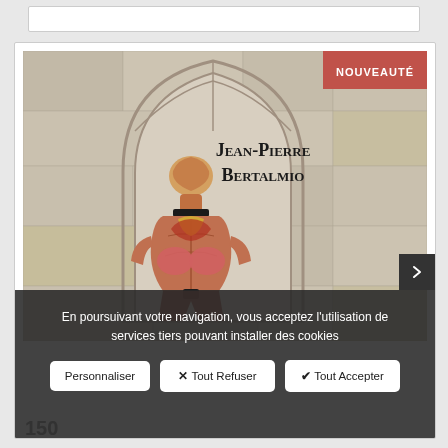[Figure (photo): Book cover photo showing a sculptural anatomical female torso model (with exposed musculature, pink/red coloring) placed in front of a Gothic stone arch. The text 'Jean-Pierre Bertalmio' is overlaid in a serif bold font. A red badge in the top-right corner reads 'NOUVEAUTÉ'.]
En poursuivant votre navigation, vous acceptez l'utilisation de services tiers pouvant installer des cookies
Personnaliser   ✕ Tout Refuser   ✔ Tout Accepter